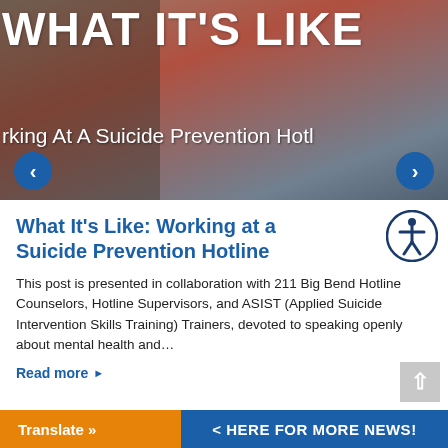[Figure (photo): Hero banner image showing people working at a crisis hotline/call center. Large white bold text overlay reads 'WHAT IT'S LIKE' and subtitle text reads 'rking At A Suicide Prevention Hotl'. Left and right navigation arrows visible.]
What It's Like: Working at a Suicide Prevention Hotline
This post is presented in collaboration with 211 Big Bend Hotline Counselors, Hotline Supervisors, and ASIST (Applied Suicide Intervention Skills Training) Trainers, devoted to speaking openly about mental health and…
Read more ▶
Translate »
< HERE FOR MORE NEWS!